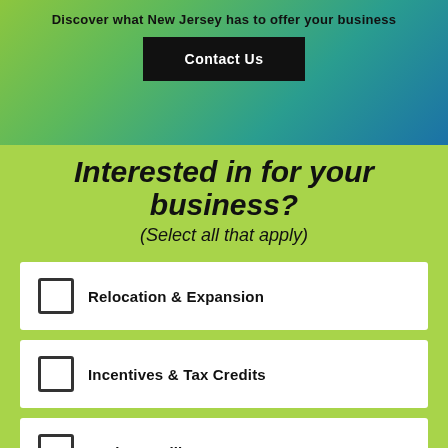Discover what New Jersey has to offer your business
Contact Us
Interested in for your business?
(Select all that apply)
Relocation & Expansion
Incentives & Tax Credits
Market Intelligence
(partially visible item)